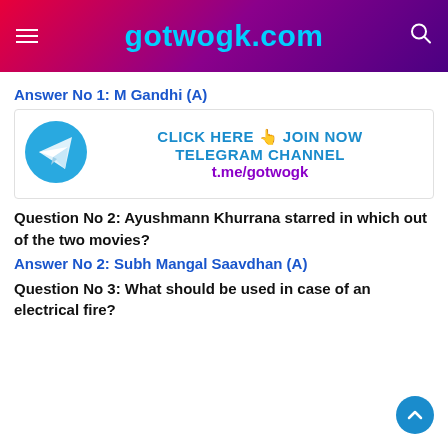gotwogk.com
Answer No 1: M Gandhi (A)
[Figure (infographic): Telegram channel promotional banner with Telegram logo (blue circle with paper plane) and text: CLICK HERE 👆 JOIN NOW TELEGRAM CHANNEL t.me/gotwogk]
Question No 2: Ayushmann Khurrana starred in which out of the two movies?
Answer No 2: Subh Mangal Saavdhan (A)
Question No 3: What should be used in case of an electrical fire?